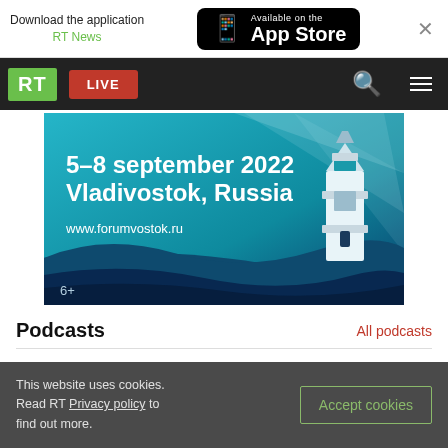Download the application RT News — Available on the App Store
RT LIVE
[Figure (illustration): Eastern Economic Forum advertisement banner: '5–8 september 2022 Vladivostok, Russia' with lighthouse illustration and www.forumvostok.ru URL, age rating 6+]
Podcasts
All podcasts
This website uses cookies. Read RT Privacy policy to find out more.
Accept cookies